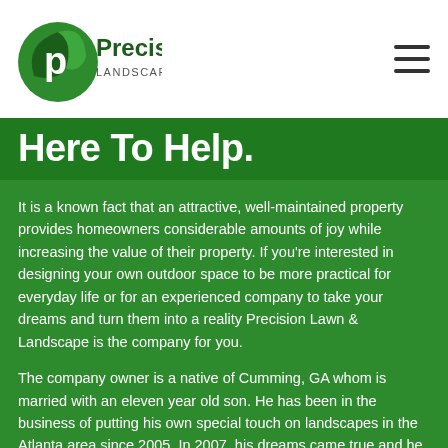[Figure (logo): Precision Landscaping logo — circular green emblem with stylized leaf and letter P, with text 'Precision LANDSCAPING']
Here To Help.
It is a known fact that an attractive, well-maintained property provides homeowners considerable amounts of joy while increasing the value of their property. If you're interested in designing your own outdoor space to be more practical for everyday life or for an experienced company to take your dreams and turn them into a reality Precision Lawn & Landscape is the company for you.
The company owner is a native of Cumming, GA whom is married with an eleven year old son. He has been in the business of putting his own special touch on landscapes in the Atlanta area since 2005. In 2007, his dreams came true and he formed his own company, Precision Lawn & Landscape which today has grown beyond what he had ever